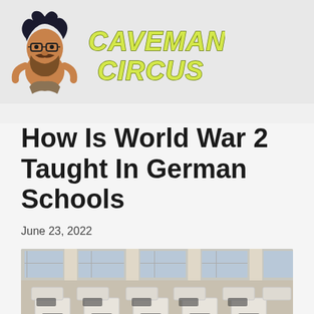[Figure (logo): Caveman Circus logo with cartoon caveman figure and yellow hand-drawn text reading CAVEMAN CIRCUS]
How Is World War 2 Taught In German Schools
June 23, 2022
[Figure (photo): Empty classroom with rows of student desks and chairs, windows with curtains visible in background]